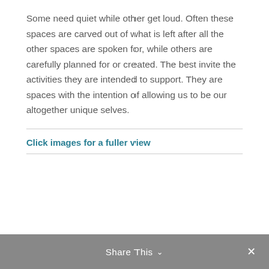Some need quiet while other get loud. Often these spaces are carved out of what is left after all the other spaces are spoken for, while others are carefully planned for or created. The best invite the activities they are intended to support. They are spaces with the intention of allowing us to be our altogether unique selves.
Click images for a fuller view
Share This ∨  ✕